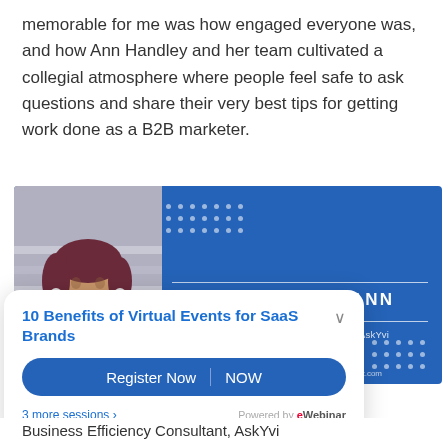memorable for me was how engaged everyone was, and how Ann Handley and her team cultivated a collegial atmosphere where people feel safe to ask questions and share their very best tips for getting work done as a B2B marketer.
[Figure (other): Promotional banner with a photo of Yvonne Heimann (woman with reddish hair, red jacket) on a blue background, showing her name 'YVONNE HEIMANN' and title 'Business Efficiency Consultant, AskYvi' with decorative dot patterns]
[Figure (screenshot): Popup overlay showing '10 Benefits of Virtual Events for SaaS Brands' with Register Now and NOW buttons, '3 more sessions' link, and 'Powered by eWebinar' branding]
Business Efficiency Consultant, AskYvi